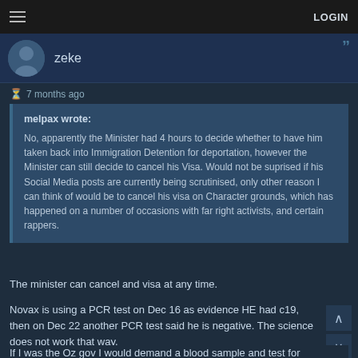LOGIN
zeke
7 months ago
melpax wrote:

No, apparently the Minister had 4 hours to decide whether to have him taken back into Immigration Detention for deportation, however the Minister can still decide to cancel his Visa. Would not be suprised if his Social Media posts are currently being scrutinised, only other reason I can think of would be to cancel his visa on Character grounds, which has happened on a number of occasions with far right activists, and certain rappers.
The minister can cancel and visa at any time.
Novax is using a PCR test on Dec 16 as evidence HE had c19, then on Dec 22 another PCR test said he is negative. The science does not work that way.
If I was the Oz gov I would demand a blood sample and test for